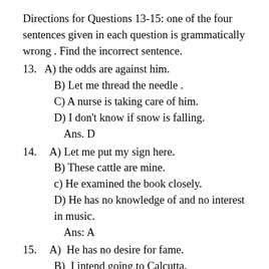Directions for Questions 13-15: one of the four sentences given in each question is grammatically wrong . Find the incorrect sentence.
13.  A) the odds are against him.
B) Let me thread the needle .
C) A nurse is taking care of him.
D) I don’t know if snow is falling.
Ans. D
14.   A) Let me put my sign here.
B) These cattle are mine.
c) He examined the book closely.
D) He has no knowledge of and no interest in music.
Ans: A
15.   A)  He has no desire for fame.
B)  I intend going to Calcutta.